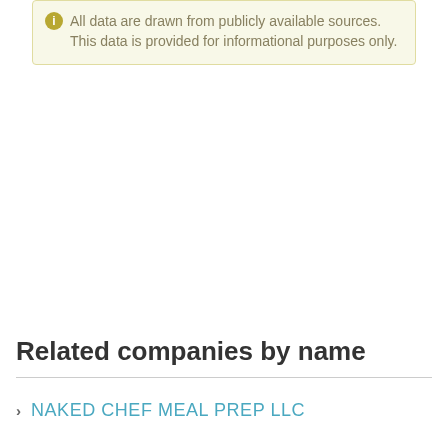All data are drawn from publicly available sources. This data is provided for informational purposes only.
Related companies by name
NAKED CHEF MEAL PREP LLC